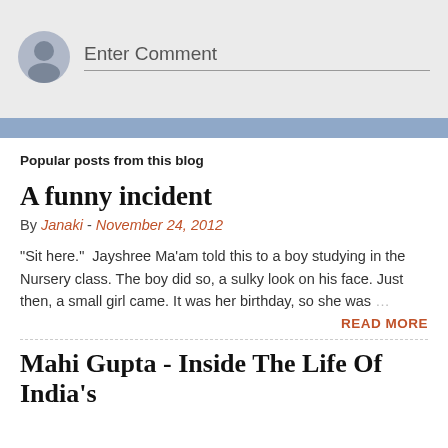[Figure (illustration): Comment input area with avatar icon and placeholder text 'Enter Comment' on a light gray background]
Popular posts from this blog
A funny incident
By Janaki - November 24, 2012
"Sit here."  Jayshree Ma'am told this to a boy studying in the Nursery class. The boy did so, a sulky look on his face. Just then, a small girl came. It was her birthday, so she was ...
READ MORE
Mahi Gupta - Inside The Life Of India's